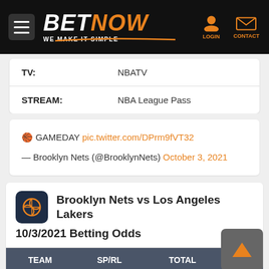BETNOW — WE MAKE IT SIMPLE
|  |  |
| --- | --- |
| TV: | NBATV |
| STREAM: | NBA League Pass |
🏀 GAMEDAY pic.twitter.com/DPrm9fVT32
— Brooklyn Nets (@BrooklynNets) October 3, 2021
Brooklyn Nets vs Los Angeles Lakers 10/3/2021 Betting Odds
| TEAM | SP/RL | TOTAL | ML |
| --- | --- | --- | --- |